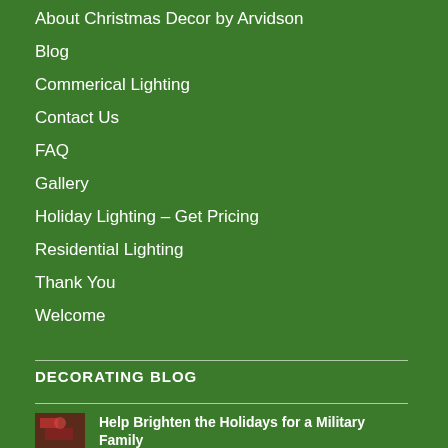About Christmas Decor by Arvidson
Blog
Commerical Lighting
Contact Us
FAQ
Gallery
Holiday Lighting – Get Pricing
Residential Lighting
Thank You
Welcome
DECORATING BLOG
Help Brighten the Holidays for a Military Family